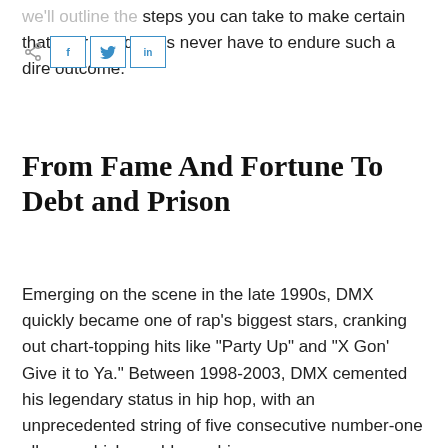we'll outline the steps you can take to make certain that your loved ones never have to endure such a dire outcome.
From Fame And Fortune To Debt and Prison
Emerging on the scene in the late 1990s, DMX quickly became one of rap's biggest stars, cranking out chart-topping hits like "Party Up" and "X Gon' Give it to Ya." Between 1998-2003, DMX cemented his legendary status in hip hop, with an unprecedented string of five consecutive number-one albums which would earn him